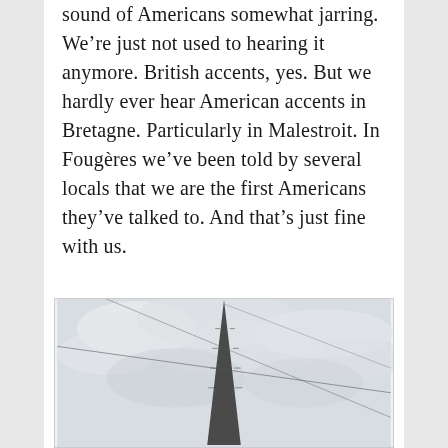sound of Americans somewhat jarring. We're just not used to hearing it anymore. British accents, yes. But we hardly ever hear American accents in Bretagne. Particularly in Malestroit. In Fougères we've been told by several locals that we are the first Americans they've talked to. And that's just fine with us.
[Figure (photo): Black and white photograph of a church or cathedral spire pointing upward against a cloudy sky, with utility or support wires crossing diagonally across the image.]